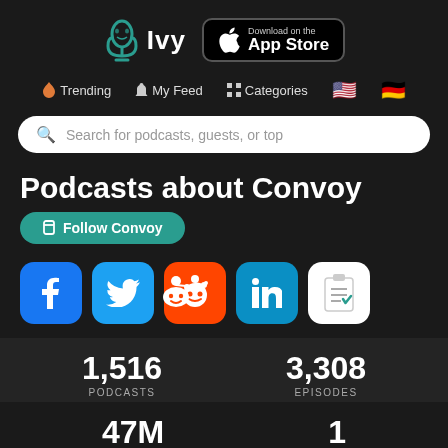[Figure (logo): Ivy podcast app logo with microphone icon and text 'Ivy', plus App Store download button]
Trending  My Feed  Categories
Search for podcasts, guests, or top
Podcasts about Convoy
Follow Convoy
[Figure (infographic): Social media sharing buttons: Facebook, Twitter, Reddit, LinkedIn, Clipboard/checklist]
1,516 PODCASTS
3,308 EPISODES
47M
1